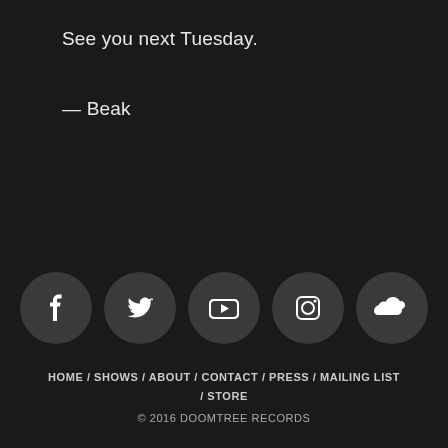See you next Tuesday.
— Beak
[Figure (infographic): Five social media icon circles: Facebook, Twitter, YouTube, Instagram, SoundCloud]
HOME / SHOWS / ABOUT / CONTACT / PRESS / MAILING LIST / STORE
© 2016 DOOMTREE RECORDS